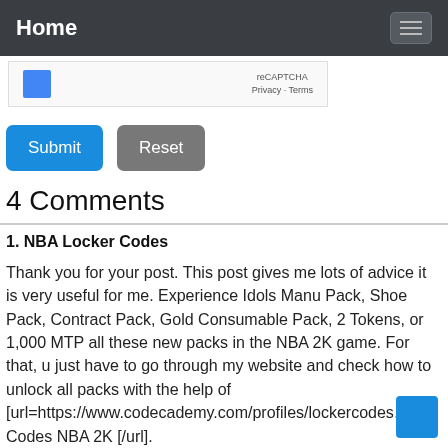Home
[Figure (screenshot): reCAPTCHA widget showing Privacy and Terms links]
Submit  Reset
4 Comments
1. NBA Locker Codes

Thank you for your post. This post gives me lots of advice it is very useful for me. Experience Idols Manu Pack, Shoe Pack, Contract Pack, Gold Consumable Pack, 2 Tokens, or 1,000 MTP all these new packs in the NBA 2K game. For that, u just have to go through my website and check how to unlock all packs with the help of [url=https://www.codecademy.com/profiles/lockercodes... 2K] Codes NBA 2K [/url].